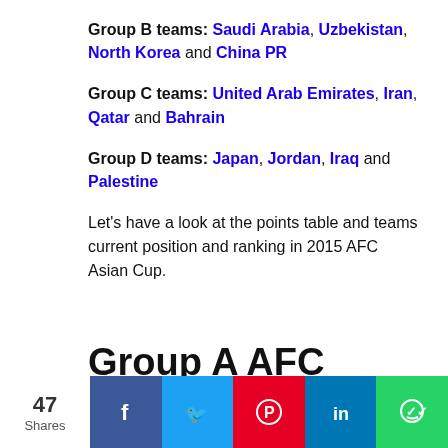Group B teams: Saudi Arabia, Uzbekistan, North Korea and China PR
Group C teams: United Arab Emirates, Iran, Qatar and Bahrain
Group D teams: Japan, Jordan, Iraq and Palestine
Let's have a look at the points table and teams current position and ranking in 2015 AFC Asian Cup.
Group A AFC Asian Cup Points Table
47 Shares | Facebook | Twitter | Pinterest | LinkedIn | WhatsApp